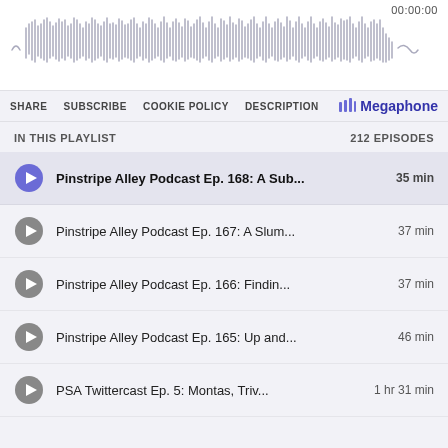[Figure (other): Audio waveform visualization with timestamp 00:00:00 in top right corner]
SHARE  SUBSCRIBE  COOKIE POLICY  DESCRIPTION  Megaphone
IN THIS PLAYLIST   212 EPISODES
Pinstripe Alley Podcast Ep. 168: A Sub...  35 min
Pinstripe Alley Podcast Ep. 167: A Slum...  37 min
Pinstripe Alley Podcast Ep. 166: Findin...  37 min
Pinstripe Alley Podcast Ep. 165: Up and...  46 min
PSA Twittercast Ep. 5: Montas, Triv... 1 hr 31 min